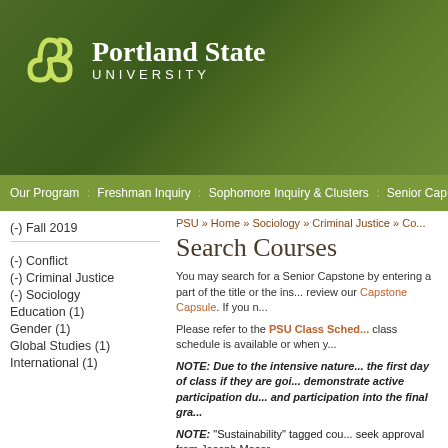[Figure (logo): Portland State University header with green gradient background, PSU logo (white clover/knot icon), and university name in white text]
Our Program : Freshman Inquiry : Sophomore Inquiry & Clusters : Senior Cap...
PSU » Home » Sociology » Criminal Justice » Co...
Search Courses
(-) Fall 2019
(-) Conflict
(-) Criminal Justice
(-) Sociology
Education (1)
Gender (1)
Global Studies (1)
International (1)
You may search for a Senior Capstone by entering a part of the title or the ins... review our Capstone Capsule. If you n...
Please refer to the PSU Class Sched... class schedule is available or when y...
NOTE:  Due to the intensive nature... the first day of class if they are goi... demonstrate active participation du... and participation into the final gra...
NOTE:  "Sustainability" tagged cou... seek approval from Joseph Maser,